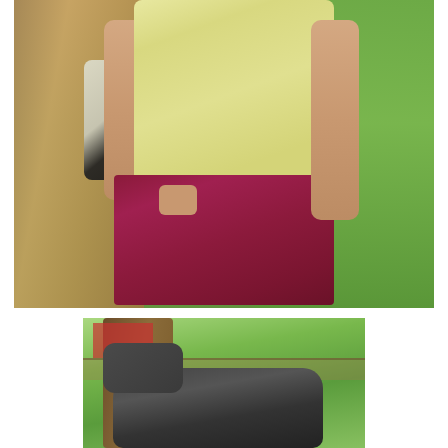[Figure (photo): Person wearing a pale yellow t-shirt and dark red/maroon cargo shorts, carrying a black backpack with straps visible. The person has one hand in pocket. Background shows a large tree trunk on the left and green grass/park setting on the right. Only the torso, arms, and upper legs are visible — head is cropped out.]
[Figure (photo): A dark-colored large animal, likely a hippopotamus or tapir, photographed from behind/side in what appears to be a zoo enclosure. Green leafy trees are visible in the background along with a red structure. A large tree trunk is visible on the left.]